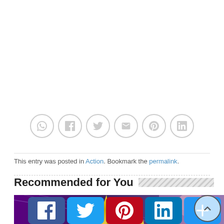[Figure (infographic): Row of 6 social share icon circles (whatsapp, facebook, twitter, email, pinterest, linkedin) with gray outlines]
This entry was posted in Action. Bookmark the permalink.
Recommended for You
[Figure (photo): Anime image showing golden spiked hair (likely Super Saiyan character) with purple background and a second character on the right]
[Figure (infographic): Social share buttons at bottom: Facebook (blue), Twitter (light blue), Pinterest (red), LinkedIn (dark blue), More/Plus (blue), and a back-to-top circular arrow button on the right]